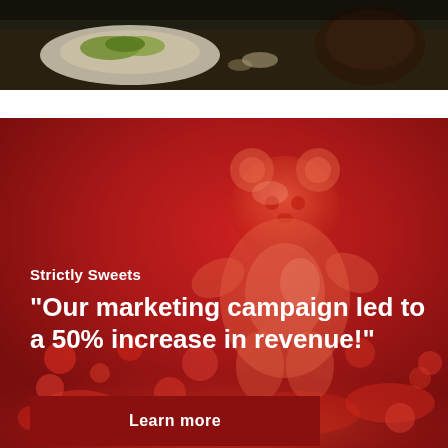[Figure (photo): Top strip showing food items on a dark background — appears to be a restaurant/food scene with green garnished dishes and a dark bowl, partially visible.]
Strictly Sweets
"Our marketing campaign led to a 50% increase in revenue!"
Learn more
[Figure (photo): Large red-toned background photo of gummy bears (translucent orange/red), with a prominent gummy bear figure standing tall in the center-right area, surrounded by a pile of smaller gummy candies. The overall color palette is deep red/crimson.]